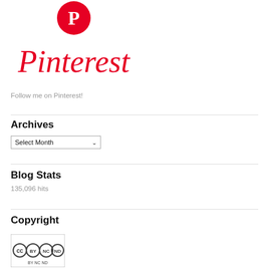[Figure (logo): Pinterest logo — red Pinterest icon and red cursive Pinterest wordmark]
Follow me on Pinterest!
Archives
Select Month (dropdown)
Blog Stats
135,096 hits
Copyright
[Figure (logo): Creative Commons BY NC ND license badge]